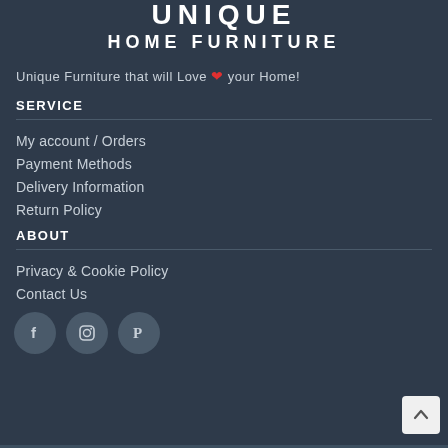[Figure (logo): Unique Home Furniture logo with UNIQUE in large letters and HOME FURNITURE below]
Unique Furniture that will Love ❤ your Home!
SERVICE
My account / Orders
Payment Methods
Delivery Information
Return Policy
ABOUT
Privacy & Cookie Policy
Contact Us
[Figure (illustration): Social media icons: Facebook, Instagram, Pinterest in circular grey buttons]